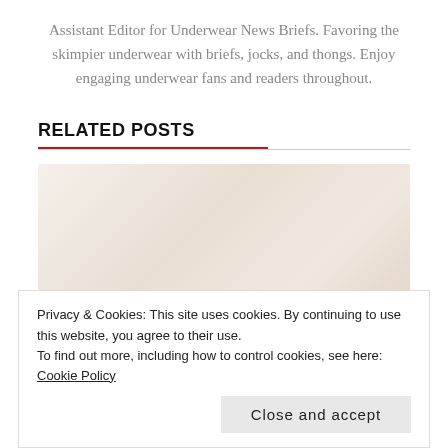Assistant Editor for Underwear News Briefs. Favoring the skimpier underwear with briefs, jocks, and thongs. Enjoy engaging underwear fans and readers throughout.
RELATED POSTS
[Figure (photo): A faded lifestyle photo showing a person in a light-toned, warmly lit setting with soft white and beige tones.]
Privacy & Cookies: This site uses cookies. By continuing to use this website, you agree to their use.
To find out more, including how to control cookies, see here: Cookie Policy
Close and accept